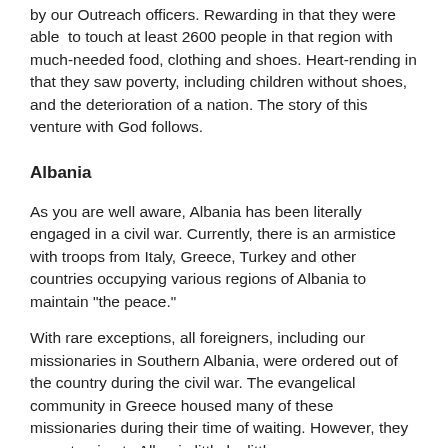by our Outreach officers. Rewarding in that they were able to touch at least 2600 people in that region with much-needed food, clothing and shoes. Heart-rending in that they saw poverty, including children without shoes, and the deterioration of a nation. The story of this venture with God follows.
Albania
As you are well aware, Albania has been literally engaged in a civil war. Currently, there is an armistice with troops from Italy, Greece, Turkey and other countries occupying various regions of Albania to maintain "the peace."
With rare exceptions, all foreigners, including our missionaries in Southern Albania, were ordered out of the country during the civil war. The evangelical community in Greece housed many of these missionaries during their time of waiting. However, they are returning to Albania little by little.
During these troubled times, through outside sources, approximately 200 pounds of clothing were